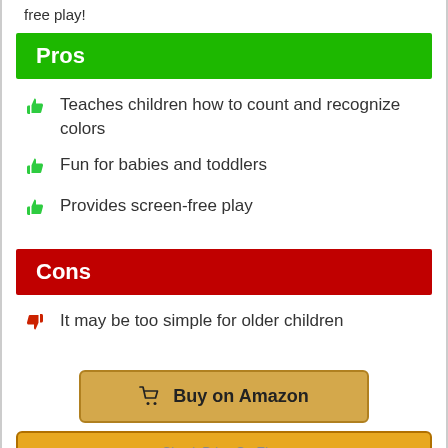free play!
Pros
Teaches children how to count and recognize colors
Fun for babies and toddlers
Provides screen-free play
Cons
It may be too simple for older children
Buy on Amazon
Check Price On Ebay